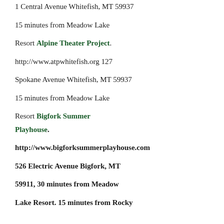1 Central Avenue Whitefish, MT 59937
15 minutes from Meadow Lake
Resort Alpine Theater Project.
http://www.atpwhitefish.org 127
Spokane Avenue Whitefish, MT 59937
15 minutes from Meadow Lake
Resort Bigfork Summer Playhouse.
http://www.bigforksummerplayhouse.com
526 Electric Avenue Bigfork, MT
59911, 30 minutes from Meadow
Lake Resort. 15 minutes from Rocky